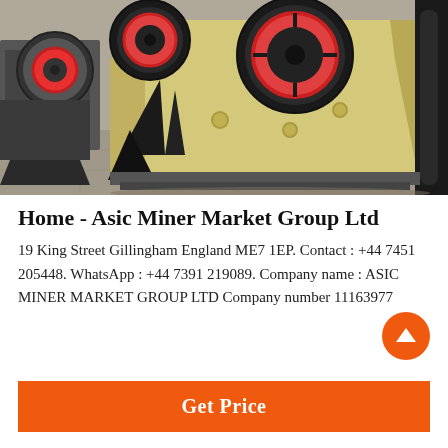[Figure (photo): Industrial jaw crusher machine photographed in a factory setting. The machine is predominantly yellow/cream colored with large red and black flywheels, black crusher jaws, and metal frame on a concrete floor. Another similar machine visible in background on the left.]
Home - Asic Miner Market Group Ltd
19 King Street Gillingham England ME7 1EP. Contact : +44 7451 205448. WhatsApp : +44 7391 219089. Company name : ASIC MINER MARKET GROUP LTD Company number 11163977
Get Price